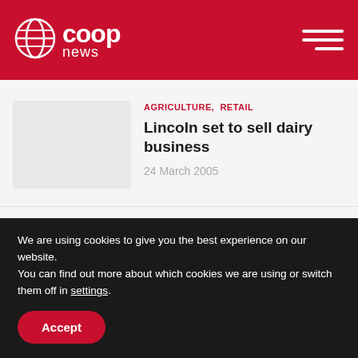co-op news
AGRICULTURE, RETAIL
Lincoln set to sell dairy business
24 March 2005
DEMOCRACY, EDUCATION, MUTUALS
Scottish parliament launch of Year of Co-op
20 February 2012
We are using cookies to give you the best experience on our website.
You can find out more about which cookies we are using or switch them off in settings.
Accept